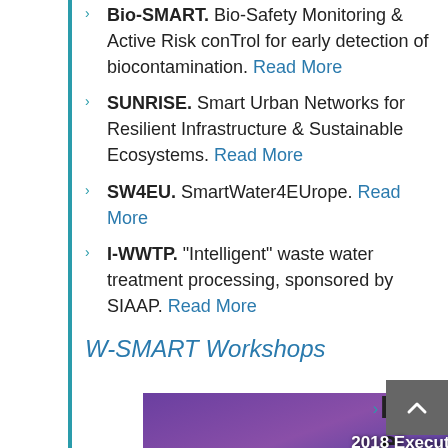Bio-SMART. Bio-Safety Monitoring & Active Risk conTrol for early detection of biocontamination. Read More
SUNRISE. Smart Urban Networks for Resilient Infrastructure & Sustainable Ecosystems. Read More
SW4EU. SmartWater4EUrope. Read More
I-WWTP. "Intelligent" waste water treatment processing, sponsored by SIAAP. Read More
W-SMART Workshops
[Figure (photo): 2018 Executive Resilience Building Forum, October 14-17, 2018, San Francisco — banner image showing city skyline at dusk with bridge]
Metro p